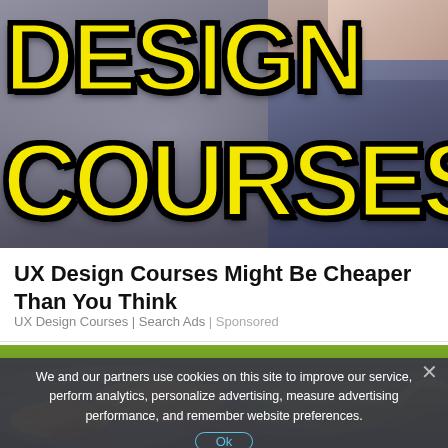[Figure (photo): Advertisement image with yellow bold text 'DESIGN COURSES' on dark background with a person in the background]
UX Design Courses Might Be Cheaper Than You Think
UX Design Courses | Search Ads | Sponsored
[Figure (photo): Photo of bananas in plastic bags at a market stall]
We and our partners use cookies on this site to improve our service, perform analytics, personalize advertising, measure advertising performance, and remember website preferences.
Ok